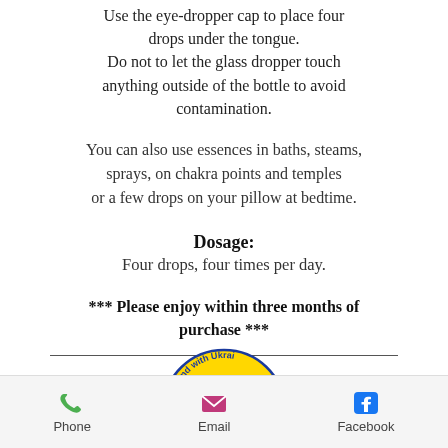Use the eye-dropper cap to place four drops under the tongue. Do not to let the glass dropper touch anything outside of the bottle to avoid contamination.
You can also use essences in baths, steams, sprays, on chakra points and temples or a few drops on your pillow at bedtime.
Dosage:
Four drops, four times per day.
*** Please enjoy within three months of purchase ***
[Figure (logo): Yellow circular badge with 'stand with Ukraine' text and a sunflower in the center, in blue on yellow background]
Phone   Email   Facebook